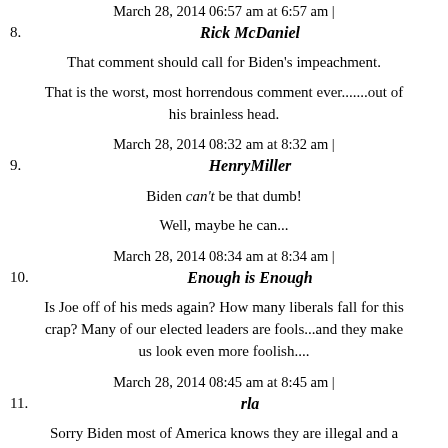March 28, 2014 06:57 am at 6:57 am |
8. Rick McDaniel
That comment should call for Biden's impeachment.
That is the worst, most horrendous comment ever.......out of his brainless head.
March 28, 2014 08:32 am at 8:32 am |
9. HenryMiller
Biden can't be that dumb!
Well, maybe he can...
March 28, 2014 08:34 am at 8:34 am |
10. Enough is Enough
Is Joe off of his meds again? How many liberals fall for this crap? Many of our elected leaders are fools...and they make us look even more foolish....
March 28, 2014 08:45 am at 8:45 am |
11. rla
Sorry Biden most of America knows they are illegal and a